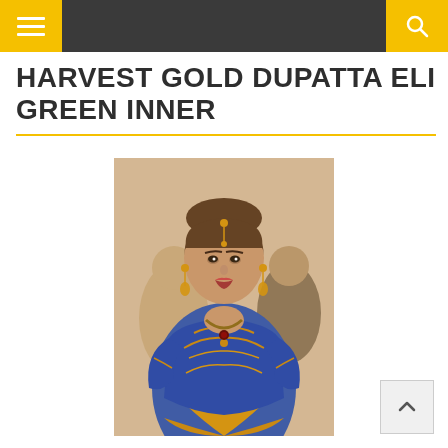Navigation header with hamburger menu and search icon
HARVEST GOLD DUPATTA ELI GREEN INNER
[Figure (photo): A woman wearing a blue outfit with gold embroidery and traditional South Asian bridal jewelry including a maang tikka, earrings, and necklace. She is posing at what appears to be a formal or wedding event.]